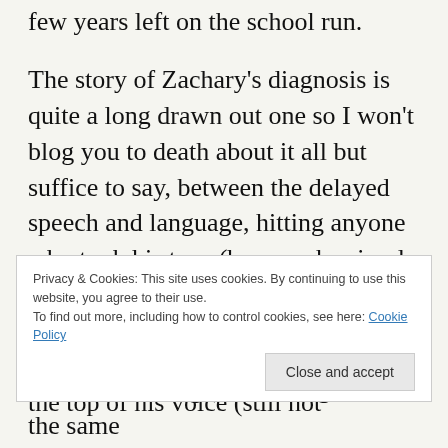few years left on the school run.

The story of Zachary’s diagnosis is quite a long drawn out one so I won’t blog you to death about it all but suffice to say, between the delayed speech and language, hitting anyone who took his toys (because he simply didn’t have the vocal skills to tell them not to), lying down in the middle of the pavement, screaming at the top of his voice (still not
Privacy & Cookies: This site uses cookies. By continuing to use this website, you agree to their use.
To find out more, including how to control cookies, see here: Cookie Policy
Close and accept
over and over again, wanting to eat the same